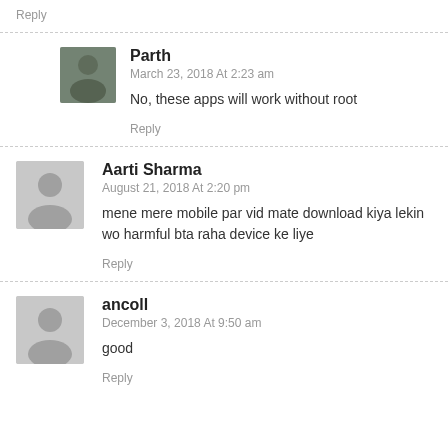Reply
Parth
March 23, 2018 At 2:23 am
No, these apps will work without root
Reply
Aarti Sharma
August 21, 2018 At 2:20 pm
mene mere mobile par vid mate download kiya lekin wo harmful bta raha device ke liye
Reply
ancoll
December 3, 2018 At 9:50 am
good
Reply